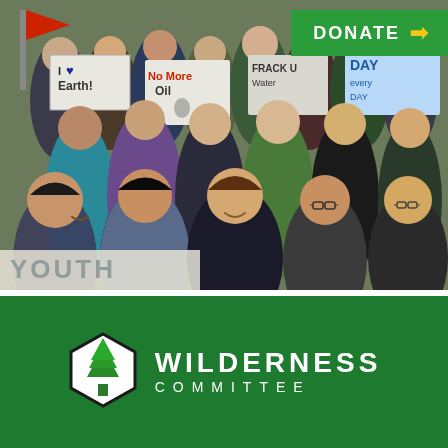[Figure (photo): Crowd of protesters marching holding signs: 'I Love Earth!', 'No More Oil', 'Frack U Water', 'Day Every Day' — environmental protest march with diverse group of young people]
DONATE →
JOIN THE ACTION →
[Figure (logo): Wilderness Committee logo: hexagonal badge with green tree icon, text 'WILDERNESS COMMITTEE' in white on dark green background]